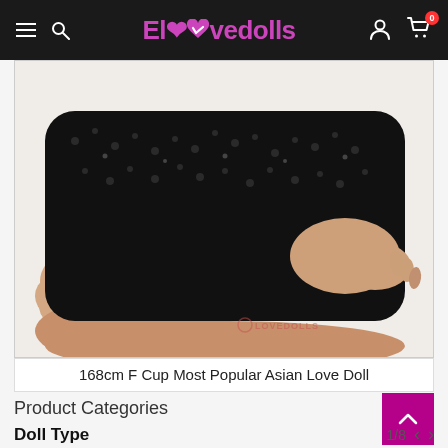Elovedolls — navigation header with hamburger menu, search, logo, user icon, cart (0)
[Figure (photo): Product photo of a life-size mannequin/doll wearing a black sequined garment, shown from torso to upper thigh area, on a white background. Watermark reads 'ELOVEDOLLS' in bottom right.]
168cm F Cup Most Popular Asian Love Doll
Product Categories
Doll Type   1/8  < >